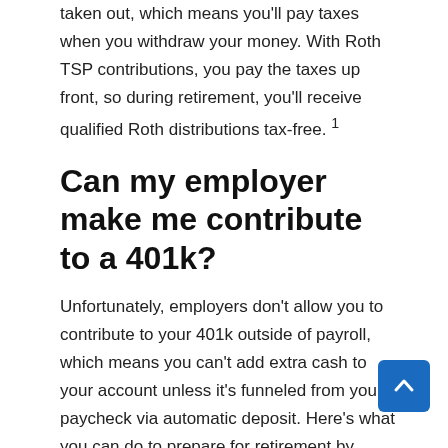taken out, which means you'll pay taxes when you withdraw your money. With Roth TSP contributions, you pay the taxes up front, so during retirement, you'll receive qualified Roth distributions tax-free. 1
Can my employer make me contribute to a 401k?
Unfortunately, employers don't allow you to contribute to your 401k outside of payroll, which means you can't add extra cash to your account unless it's funneled from your paycheck via automatic deposit. Here's what you can do to prepare for retirement by maximizing your 401k contributions. 401k Retirement Plan Contributions